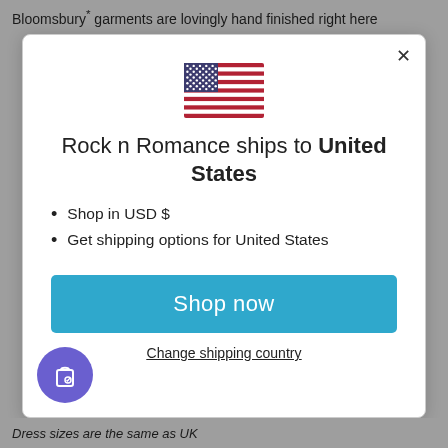Bloomsbury* garments are lovingly hand finished right here
[Figure (illustration): US flag emoji/icon shown centered in modal dialog]
Rock n Romance ships to United States
Shop in USD $
Get shipping options for United States
Shop now
Change shipping country
Dress sizes are the same as UK